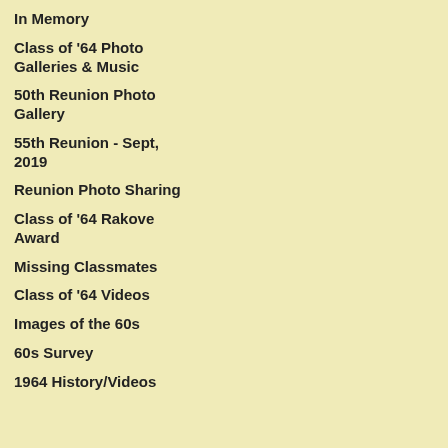In Memory
Class of '64 Photo Galleries & Music
50th Reunion Photo Gallery
55th Reunion - Sept, 2019
Reunion Photo Sharing
Class of '64 Rakove Award
Missing Classmates
Class of '64 Videos
Images of the 60s
60s Survey
1964 History/Videos
Send Patricia (Fatima) a private message
| Field | Value |
| --- | --- |
| Residing In | Petaluma |
| Occupation | retired art |
| Children | Noah: 11/
Google X |
Profile Questions: Show Patricia (Fatima)
Patricia (Fatima)'s Latest Int
[Figure (photo): Black and white portrait photo of Patricia (Fatima)]
Patricia (Fatima) La
Patricia (Fatima)
Posted on: May 20, 2022 at 3: